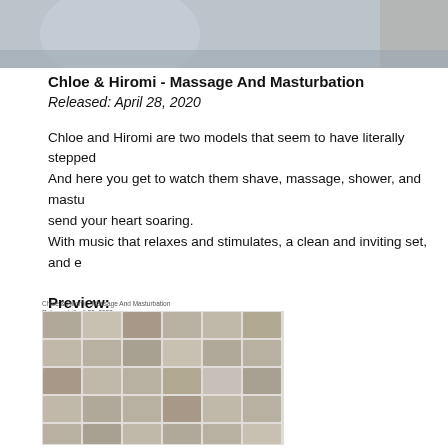[Figure (photo): Partial view of a photo at the top of the page, cropped — shows a blurred background scene]
Chloe & Hiromi - Massage And Masturbation
Released: April 28, 2020
Chloe and Hiromi are two models that seem to have literally stepped... And here you get to watch them shave, massage, shower, and mastu... send your heart soaring.
With music that relaxes and stimulates, a clean and inviting set, and e...
Preview:
[Figure (photo): A contact sheet / thumbnail grid preview image showing multiple small video stills arranged in rows and columns]